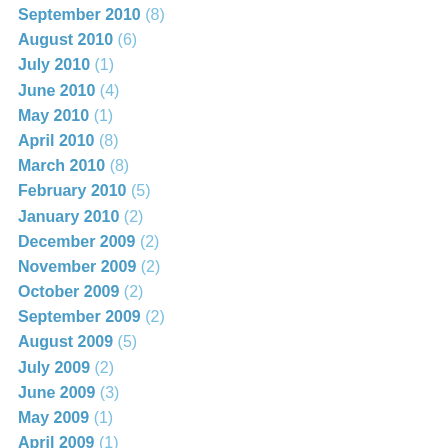September 2010 (8)
August 2010 (6)
July 2010 (1)
June 2010 (4)
May 2010 (1)
April 2010 (8)
March 2010 (8)
February 2010 (5)
January 2010 (2)
December 2009 (2)
November 2009 (2)
October 2009 (2)
September 2009 (2)
August 2009 (5)
July 2009 (2)
June 2009 (3)
May 2009 (1)
April 2009 (1)
March 2009 (3)
February 2009 (3)